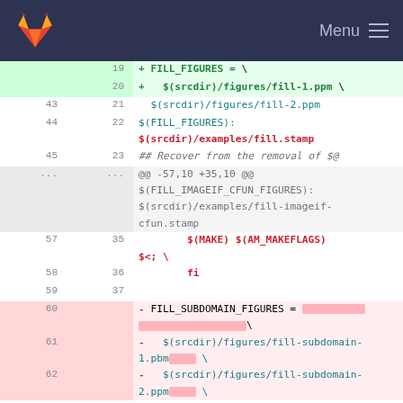Menu
[Figure (screenshot): GitLab diff view showing changes to a Makefile. Lines 19-22 show additions of FILL_FIGURES variable and fill .ppm paths. Lines 43-45/23 and context show existing lines. Lines 57-59/35-37 show $(MAKE) $(AM_MAKEFLAGS) and fi. Lines 60-62 show deletions of FILL_SUBDOMAIN_FIGURES variable and fill-subdomain paths with redacted content.]